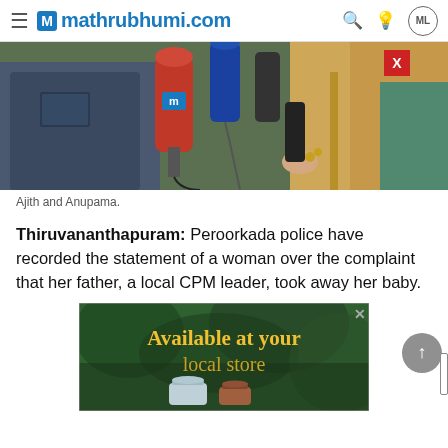mathrubhumi.com
[Figure (photo): Press conference scene showing microphones including a red Mathrubhumi mic, people holding mics toward a person partially visible on the right side wearing colorful attire, with a red X close button overlay]
Ajith and Anupama.
Thiruvananthapuram: Peroorkada police have recorded the statement of a woman over the complaint that her father, a local CPM leader, took away her baby.
[Figure (screenshot): Advertisement banner with green forest background reading 'Available at your local store' in yellow/gold text with product jars at bottom and a close X button]